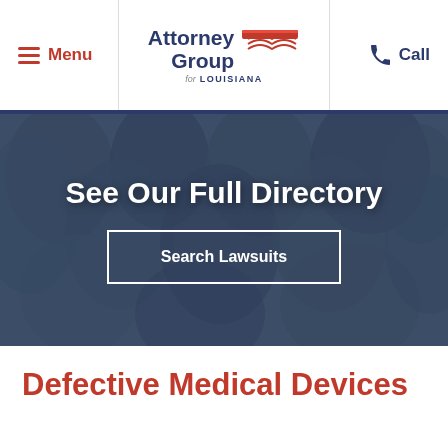Menu | Attorney Group for Louisiana | Call
[Figure (screenshot): Hero banner with blurred crowd background showing 'See Our Full Directory' heading and 'Search Lawsuits' button]
See Our Full Directory
Search Lawsuits
Defective Medical Devices